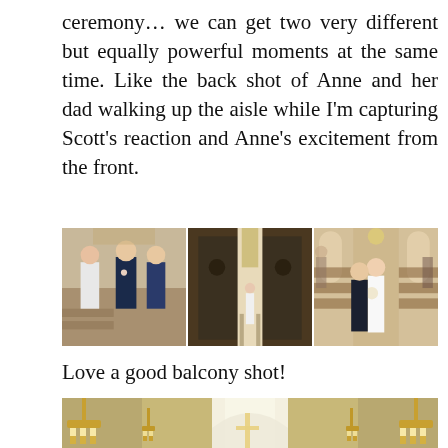ceremony… we can get two very different but equally powerful moments at the same time. Like the back shot of Anne and her dad walking up the aisle while I'm capturing Scott's reaction and Anne's excitement from the front.
[Figure (photo): Three wedding ceremony photos side by side: left shows groom and officiant at altar, middle shows bride walking down aisle viewed from back through church doors, right shows bride and father walking up aisle from front.]
Love a good balcony shot!
[Figure (photo): Church interior balcony shot showing ornate chandeliers and altar with crucifix bathed in bright light.]